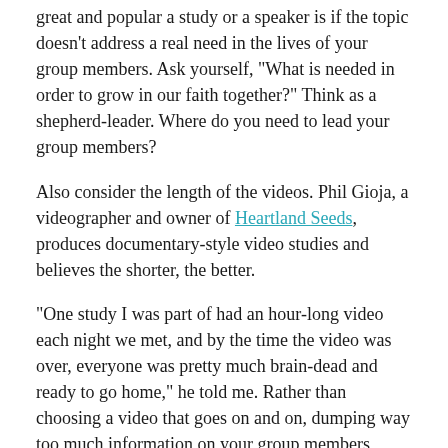great and popular a study or a speaker is if the topic doesn't address a real need in the lives of your group members. Ask yourself, "What is needed in order to grow in our faith together?" Think as a shepherd-leader. Where do you need to lead your group members?
Also consider the length of the videos. Phil Gioja, a videographer and owner of Heartland Seeds, produces documentary-style video studies and believes the shorter, the better.
"One study I was part of had an hour-long video each night we met, and by the time the video was over, everyone was pretty much brain-dead and ready to go home," he told me. Rather than choosing a video that goes on and on, dumping way too much information on your group members, choose a video that sparks discussion and perhaps even includes a book with some questions to get discussion started.
Steve Yarrow, small-group pastor at NorthRidge Church in